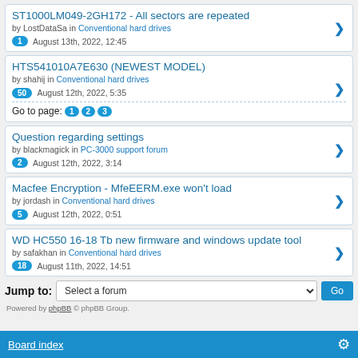ST1000LM049-2GH172 - All sectors are repeated | by LostDataSa in Conventional hard drives | 1 August 13th, 2022, 12:45
HTS541010A7E630 (NEWEST MODEL) | by shahij in Conventional hard drives | 50 August 12th, 2022, 5:35 | Go to page: 1 2 3
Question regarding settings | by blackmagick in PC-3000 support forum | 2 August 12th, 2022, 3:14
Macfee Encryption - MfeEERM.exe won't load | by jordash in Conventional hard drives | 5 August 12th, 2022, 0:51
WD HC550 16-18 Tb new firmware and windows update tool | by safakhan in Conventional hard drives | 18 August 11th, 2022, 14:51
Jump to: Select a forum Go
Powered by phpBB © phpBB Group.
Board index